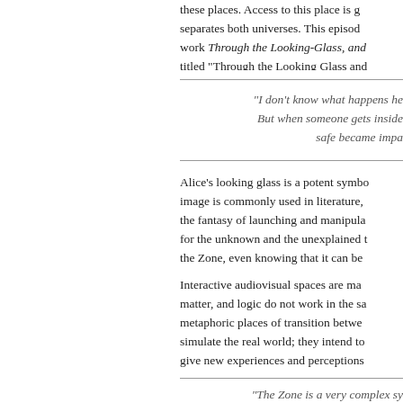these places. Access to this place is g separates both universes. This episod work Through the Looking-Glass, and titled "Through the Looking Glass and
"I don't know what happens he But when someone gets inside safe became impa
Alice's looking glass is a potent symbo image is commonly used in literature, the fantasy of launching and manipula for the unknown and the unexplained t the Zone, even knowing that it can be
Interactive audiovisual spaces are ma matter, and logic do not work in the sa metaphoric places of transition betwe simulate the real world; they intend to give new experiences and perceptions
"The Zone is a very complex sy prior notice